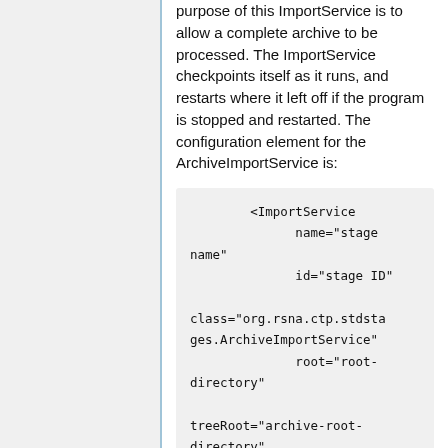purpose of this ImportService is to allow a complete archive to be processed. The ImportService checkpoints itself as it runs, and restarts where it left off if the program is stopped and restarted. The configuration element for the ArchiveImportService is: